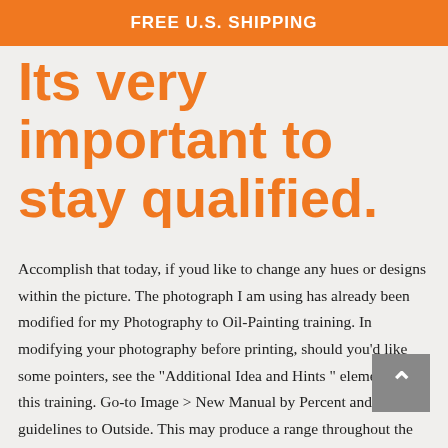FREE U.S. SHIPPING
Its very important to stay qualified.
Accomplish that today, if youd like to change any hues or designs within the picture. The photograph I am using has already been modified for my Photography to Oil-Painting training. In modifying your photography before printing, should you'd like some pointers, see the "Additional Idea and Hints " element of this training. Go-to Image > New Manual by Percent and set the guidelines to Outside. This may produce a range throughout the heart of the image. Do the same for a vertical range and also you are in possession of a four grid that is square. Stage 4: Divided Your Photography Into Pieces Select the Rectangle selection Device, and use a package to be drawn by it around your images' top left portion. Keep within the collections, but be sure you get most of the picture in this section of